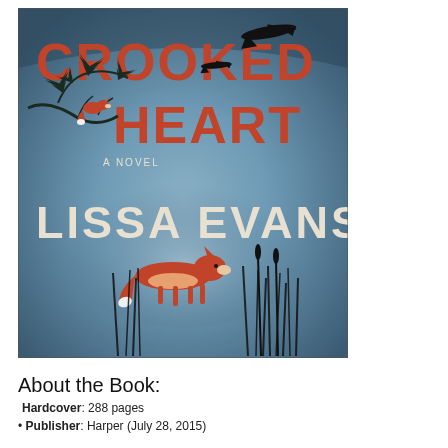[Figure (illustration): Book cover of 'Crooked Heart: A Novel' by Lissa Evans. Bluish-grey atmospheric background with silhouettes of airplanes at top right, bare tree branches with leaves and a fox on the left, the title 'CROOKED HEART' in large red/terracotta letters, subtitle 'A NOVEL' in small text, author name 'LISSA EVANS' in large cream/white letters, and a fox walking through dark reeds/grasses in the center-bottom area.]
About the Book:
Hardcover: 288 pages
Publisher: Harper (July 28, 2015)